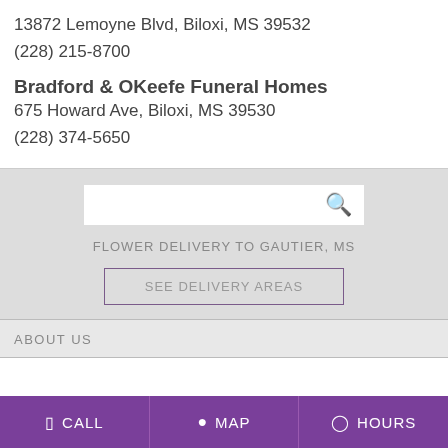13872 Lemoyne Blvd, Biloxi, MS 39532
(228) 215-8700
Bradford & OKeefe Funeral Homes
675 Howard Ave, Biloxi, MS 39530
(228) 374-5650
FLOWER DELIVERY TO GAUTIER, MS
SEE DELIVERY AREAS
ABOUT US
CALL
MAP
HOURS